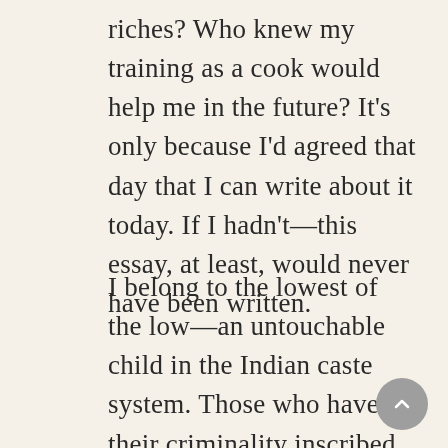riches? Who knew my training as a cook would help me in the future? It's only because I'd agreed that day that I can write about it today. If I hadn't—this essay, at least, would never have been written.
I belong to the lowest of the low—an untouchable child in the Indian caste system. Those who have their criminality inscribed at birth. If a member of my caste were to touch the food belonging to an upper caste, it'd be judged as a terrible sin. The man